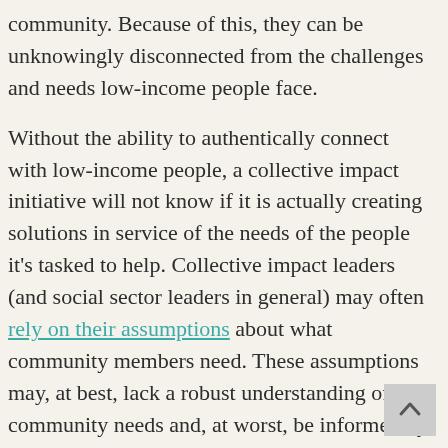community. Because of this, they can be unknowingly disconnected from the challenges and needs low-income people face.
Without the ability to authentically connect with low-income people, a collective impact initiative will not know if it is actually creating solutions in service of the needs of the people it's tasked to help. Collective impact leaders (and social sector leaders in general) may often rely on their assumptions about what community members need. These assumptions may, at best, lack a robust understanding of community needs and, at worst, be informed by harmful biases.
Working with community members to shape and